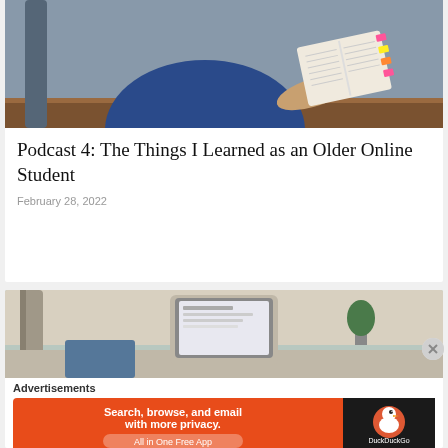[Figure (photo): Person in blue shirt holding open a book with colorful sticky tab markers, sitting at a wooden desk]
Podcast 4: The Things I Learned as an Older Online Student
February 28, 2022
[Figure (photo): A laptop computer on a desk with a chair visible in the background]
Advertisements
[Figure (infographic): DuckDuckGo advertisement banner: Search, browse, and email with more privacy. All in One Free App. DuckDuckGo logo on dark background.]